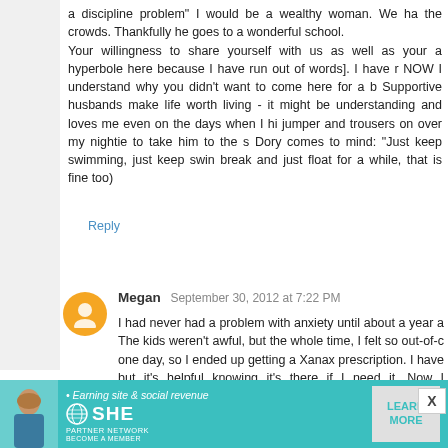a discipline problem" I would be a wealthy woman. We ha the crowds. Thankfully he goes to a wonderful school. Your willingness to share yourself with us as well as your a hyperbole here because I have run out of words]. I have r NOW I understand why you didn't want to come here for a b Supportive husbands make life worth living - it might be understanding and loves me even on the days when I hi jumper and trousers on over my nightie to take him to the s Dory comes to mind: "Just keep swimming, just keep swin break and just float for a while, that is fine too)
Reply
Megan  September 30, 2012 at 7:22 PM
I had never had a problem with anxiety until about a year a The kids weren't awful, but the whole time, I felt so out-of-c one day, so I ended up getting a Xanax prescription. I have but it's helpful knowing it's there if I need it. Now I understan
Reply
Gaylin  September 30, 2012 at 7:24 PM
Thanks for this blog. You are so strong to have dealt w
[Figure (infographic): Advertisement banner for SHE Media Partner Network: Earning site & social revenue. Features a LEARN MORE button and a photo of a woman.]